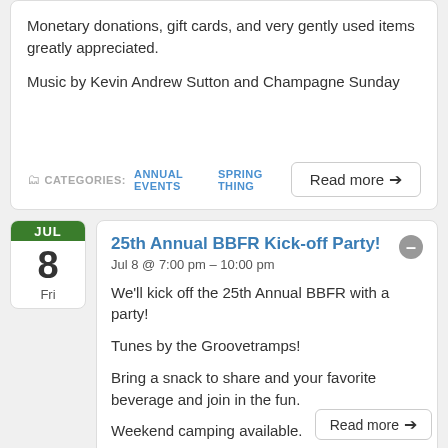Monetary donations, gift cards, and very gently used items greatly appreciated.
Music by Kevin Andrew Sutton and Champagne Sunday
CATEGORIES:  ANNUAL EVENTS  SPRING THING
Read more →
25th Annual BBFR Kick-off Party!
Jul 8 @ 7:00 pm – 10:00 pm
We'll kick off the 25th Annual BBFR with a party!
Tunes by the Groovetramps!
Bring a snack to share and your favorite beverage and join in the fun.
Weekend camping available.
CATEGORIES:
Read more →